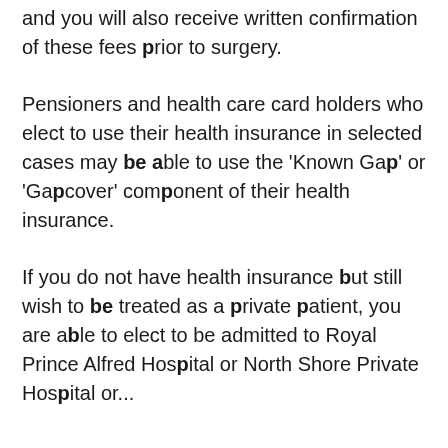and you will also receive written confirmation of these fees prior to surgery.
Pensioners and health care card holders who elect to use their health insurance in selected cases may be able to use the 'Known Gap' or 'Gapcover' component of their health insurance.
If you do not have health insurance but still wish to be treated as a private patient, you are able to elect to be admitted to Royal Prince Alfred Hospital or North Shore Private Hospital or...